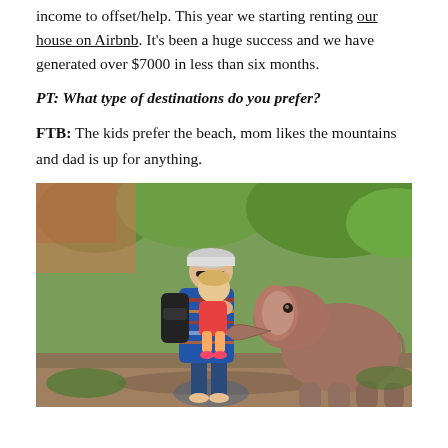income to offset/help. This year we starting renting our house on Airbnb. It's been a huge success and we have generated over $7000 in less than six months.
PT: What type of destinations do you prefer?
FTB: The kids prefer the beach, mom likes the mountains and dad is up for anything.
[Figure (photo): A person holding a young child while a baby elephant reaches out its trunk toward them, set in an outdoor green leafy environment.]